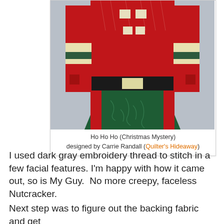[Figure (photo): A quilt block depicting a Santa/Nutcracker figure body in red fabric with white snowflake/tree patterns, green patterned fabric forming a coat shape, black belt with cream buckle, and cream/gold trim bands. The figure is displayed against a gray background.]
Ho Ho Ho (Christmas Mystery) designed by Carrie Randall (Quilter's Hideaway)
I used dark gray embroidery thread to stitch in a few facial features. I'm happy with how it came out, so is My Guy.  No more creepy, faceless Nutcracker.
Next step was to figure out the backing fabric and get